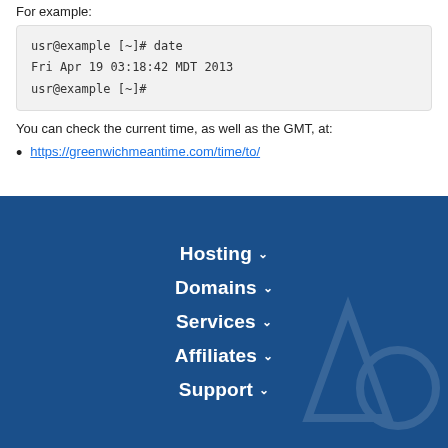For example:
usr@example [~]# date
Fri Apr 19 03:18:42 MDT 2013
usr@example [~]#
You can check the current time, as well as the GMT, at:
https://greenwichmeantime.com/time/to/
Hosting
Domains
Services
Affiliates
Support